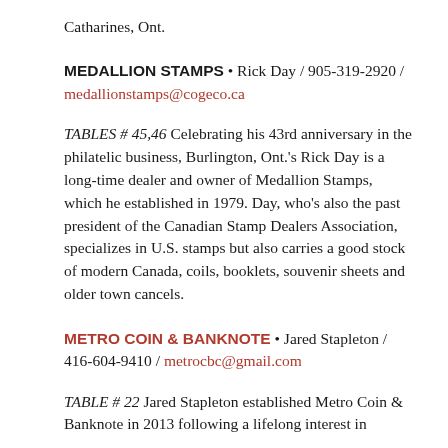Catharines, Ont.
MEDALLION STAMPS • Rick Day / 905-319-2920 / medallionstamps@cogeco.ca
TABLES # 45,46 Celebrating his 43rd anniversary in the philatelic business, Burlington, Ont.'s Rick Day is a long-time dealer and owner of Medallion Stamps, which he established in 1979. Day, who's also the past president of the Canadian Stamp Dealers Association, specializes in U.S. stamps but also carries a good stock of modern Canada, coils, booklets, souvenir sheets and older town cancels.
METRO COIN & BANKNOTE • Jared Stapleton / 416-604-9410 / metrocbc@gmail.com
TABLE # 22 Jared Stapleton established Metro Coin & Banknote in 2013 following a lifelong interest in